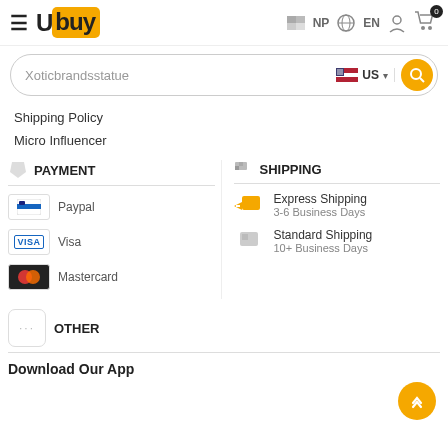[Figure (screenshot): Ubuy e-commerce website header with hamburger menu, Ubuy logo, NP country selector, EN language selector, user icon, and cart icon with 0 badge]
[Figure (screenshot): Search bar with text 'Xoticbrandsstatue', US flag selector with dropdown, and orange search button]
Shipping Policy
Micro Influencer
PAYMENT
Paypal
Visa
Mastercard
SHIPPING
Express Shipping
3-6 Business Days
Standard Shipping
10+ Business Days
OTHER
Download Our App